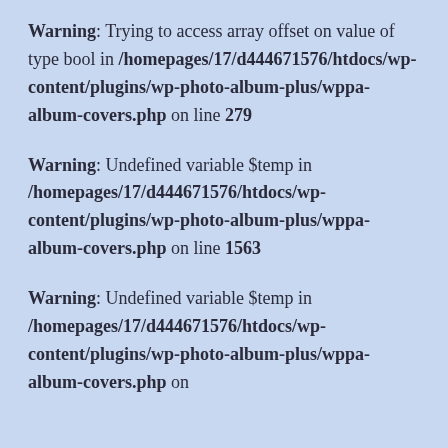Warning: Trying to access array offset on value of type bool in /homepages/17/d444671576/htdocs/wp-content/plugins/wp-photo-album-plus/wppa-album-covers.php on line 279
Warning: Undefined variable $temp in /homepages/17/d444671576/htdocs/wp-content/plugins/wp-photo-album-plus/wppa-album-covers.php on line 1563
Warning: Undefined variable $temp in /homepages/17/d444671576/htdocs/wp-content/plugins/wp-photo-album-plus/wppa-album-covers.php on